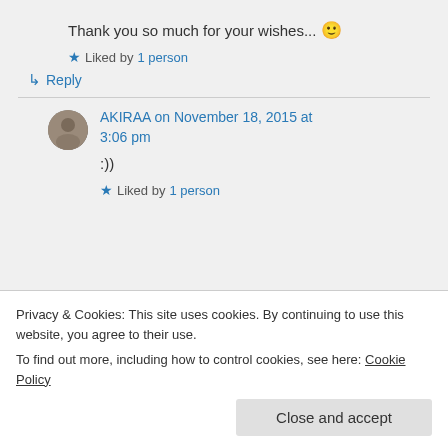Thank you so much for your wishes... 🙂
★ Liked by 1 person
↳ Reply
AKIRAA on November 18, 2015 at 3:06 pm
:))
★ Liked by 1 person
Privacy & Cookies: This site uses cookies. By continuing to use this website, you agree to their use. To find out more, including how to control cookies, see here: Cookie Policy
Close and accept